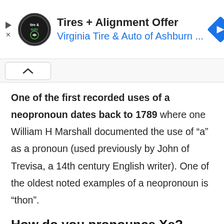[Figure (screenshot): Advertisement banner for Virginia Tire & Auto of Ashburn with logo and navigation arrow icon. Shows 'Tires + Alignment Offer' headline and 'Virginia Tire & Auto of Ashburn ...' subtitle in blue.]
One of the first recorded uses of a neopronoun dates back to 1789 where one William H Marshall documented the use of “a” as a pronoun (used previously by John of Trevisa, a 14th century English writer). One of the oldest noted examples of a neopronoun is “thon”.
How do you pronounce Xe?
Explain It: